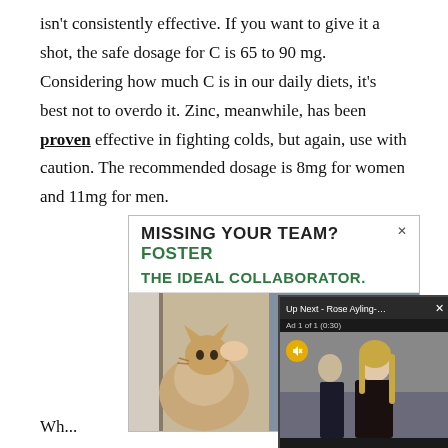isn't consistently effective. If you want to give it a shot, the safe dosage for C is 65 to 90 mg. Considering how much C is in our daily diets, it's best not to overdo it. Zinc, meanwhile, has been proven effective in fighting colds, but again, use with caution. The recommended dosage is 8mg for women and 11mg for men.
[Figure (screenshot): Advertisement banner: 'MISSING YOUR TEAM? FOSTER THE IDEAL COLLABORATOR.' with an image of a cat and a person, plus a video overlay showing 'Up Next - Rose Ayling-Ellis sparks specu...' with an Ad 1 of 1 (0:30) label and mute button.]
Wh...